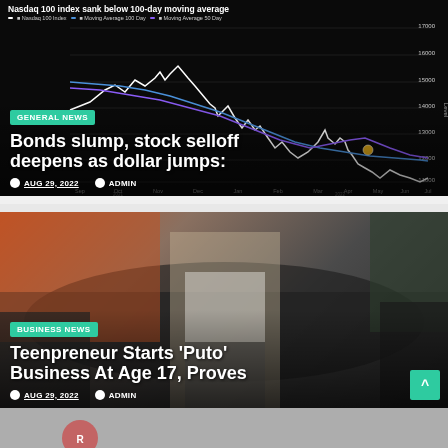[Figure (screenshot): News article card with Nasdaq 100 line chart background showing index sank below 100-day moving average, with GENERAL NEWS badge, headline 'Bonds slump, stock selloff deepens as dollar jumps:', and metadata showing AUG 29, 2022 and ADMIN]
[Figure (photo): News article card with photo of young woman in white top standing in front of dark SUV, with BUSINESS NEWS badge, headline 'Teenpreneur Starts ‘Puto’ Business At Age 17, Proves', and metadata showing AUG 29, 2022 and ADMIN]
[Figure (photo): Partial bottom card with light background, partially cut off at bottom of page]